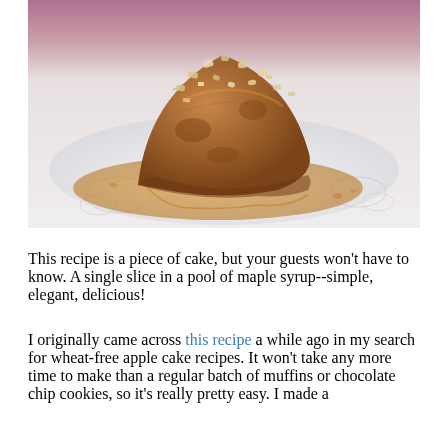[Figure (photo): A triangular slice of apple cake topped with chopped pecans, sitting in a pool of maple syrup on a white floral-patterned plate.]
This recipe is a piece of cake, but your guests won't have to know. A single slice in a pool of maple syrup--simple, elegant, delicious!
I originally came across this recipe a while ago in my search for wheat-free apple cake recipes. It won't take any more time to make than a regular batch of muffins or chocolate chip cookies, so it's really pretty easy. I made a